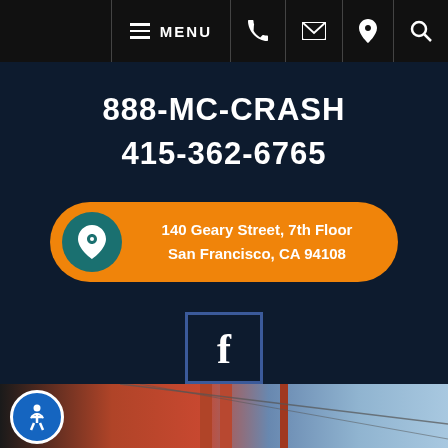MENU (navigation bar with phone, email, location, search icons)
888-MC-CRASH
415-362-6765
140 Geary Street, 7th Floor San Francisco, CA 94108
[Figure (logo): Facebook social media icon in a dark blue bordered square]
[Figure (photo): Bottom strip showing Golden Gate Bridge tower and cables against blue sky, with accessibility icon in bottom left]